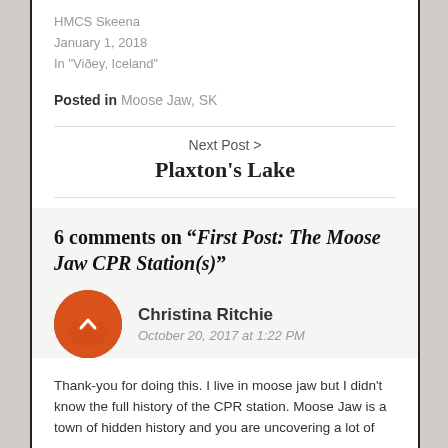HMCS Skeena
January 1, 2018
In "Viðey, Iceland"
Posted in Moose Jaw, SK
Next Post >
Plaxton's Lake
6 comments on “First Post: The Moose Jaw CPR Station(s)”
Christina Ritchie
October 20, 2017 at 1:22 PM
Thank-you for doing this. I live in moose jaw but I didn't know the full history of the CPR station. Moose Jaw is a town of hidden history and you are uncovering a lot of